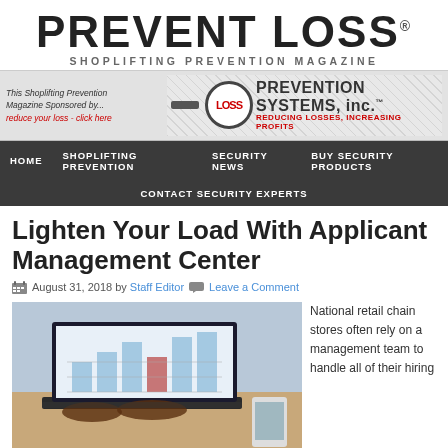PREVENT LOSS
SHOPLIFTING PREVENTION MAGAZINE
[Figure (logo): Loss Prevention Systems, Inc. advertisement banner with logo. Text: This Shoplifting Prevention Magazine Sponsored by... reduce your loss - click here. LOSS PREVENTION SYSTEMS, inc.™ REDUCING LOSSES, INCREASING PROFITS]
HOME  SHOPLIFTING PREVENTION  SECURITY NEWS  BUY SECURITY PRODUCTS  CONTACT SECURITY EXPERTS
Lighten Your Load With Applicant Management Center
August 31, 2018 by Staff Editor  Leave a Comment
[Figure (photo): Person typing on laptop with a chart/graph visible on screen showing bar and area charts]
National retail chain stores often rely on a management team to handle all of their hiring...